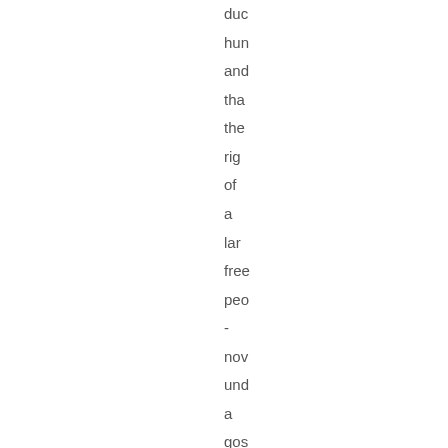duc hun and tha the rig of a larg free peo - now und a gos soc con whi sha few cult ass tha